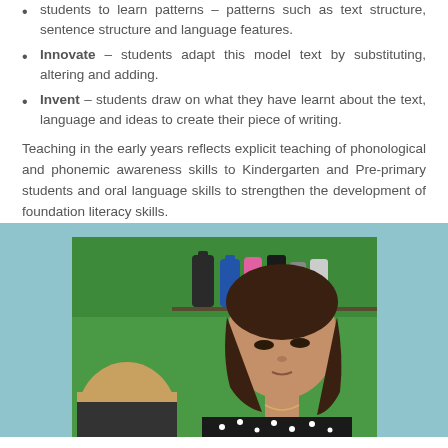students to learn patterns – patterns such as text structure, sentence structure and language features.
Innovate – students adapt this model text by substituting, altering and adding.
Invent – students draw on what they have learnt about the text, language and ideas to create their piece of writing.
Teaching in the early years reflects explicit teaching of phonological and phonemic awareness skills to Kindergarten and Pre-primary students and oral language skills to strengthen the development of foundation literacy skills.
[Figure (photo): A student with curly hair wearing a black polka-dot top, looking down, appearing to be writing or working. Another child with blonde hair is partially visible in the foreground. Green background with water bottles visible on a shelf in the background.]